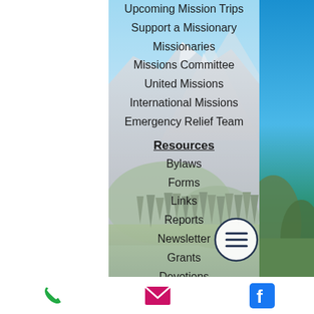[Figure (photo): Mountain landscape background with blue sky, rocky peaks, and forested slopes. A semi-transparent white overlay panel sits in the center-left area containing navigation menu items.]
Upcoming Mission Trips
Support a Missionary
Missionaries
Missions Committee
United Missions
International Missions
Emergency Relief Team
Resources
Bylaws
Forms
Links
Reports
Newsletter
Grants
Devotions
Job Openings
Phone | Email | Facebook